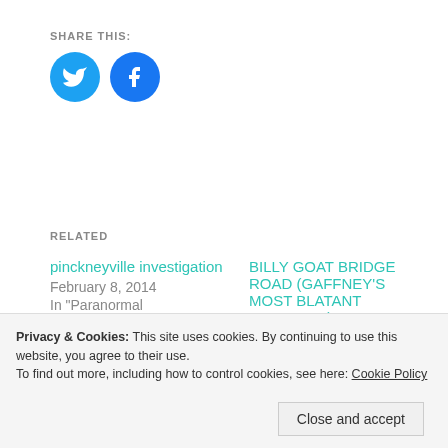SHARE THIS:
[Figure (illustration): Twitter and Facebook share buttons as blue circular icons]
RELATED
pinckneyville investigation
February 8, 2014
In "Paranormal investigation"
BILLY GOAT BRIDGE ROAD (GAFFNEY'S MOST BLATANT HAUNTING)
February 8, 2014
In "fact"
Privacy & Cookies: This site uses cookies. By continuing to use this website, you agree to their use.
To find out more, including how to control cookies, see here: Cookie Policy